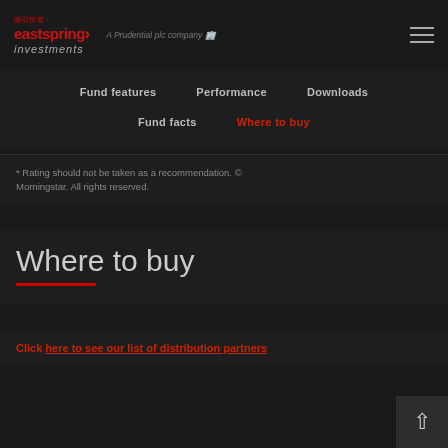eastspring investments — A Prudential plc company
Fund features | Performance | Downloads | Fund facts | Where to buy
* Rating should not be taken as a recommendation. © Morningstar. All rights reserved.
Where to buy
Click here to see our list of distribution partners